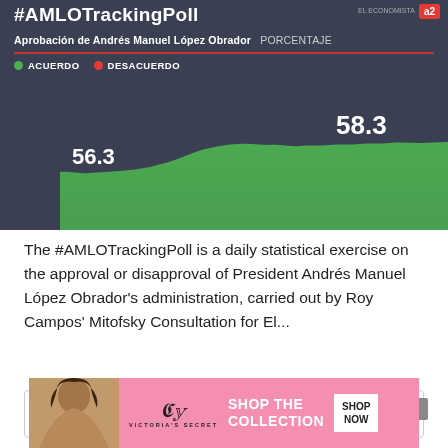[Figure (continuous-plot): AMLO Tracking Poll area chart showing approval (Acuerdo) in green rising from ~56.3 to 58.3, on dark background. Title: #AMLOTrackingPoll, subtitle: Aprobación de Andrés Manuel López Obrador | PORCENTAJE, legend: ACUERDO (green dot), DESACUERDO (red dot). Start value 56.3, end value 58.3.]
The #AMLOTrackingPoll is a daily statistical exercise on the approval or disapproval of President Andrés Manuel López Obrador's administration, carried out by Roy Campos' Mitofsky Consultation for El...
[Figure (screenshot): Search bar with placeholder text 'Search...' and a search icon]
[Figure (infographic): Victoria's Secret advertisement banner with pink background, model photo, VS logo, 'SHOP THE COLLECTION' text, and 'SHOP NOW' button]